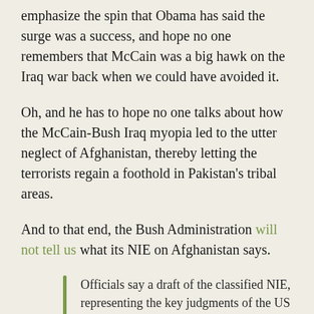emphasize the spin that Obama has said the surge was a success, and hope no one remembers that McCain was a big hawk on the Iraq war back when we could have avoided it.
Oh, and he has to hope no one talks about how the McCain-Bush Iraq myopia led to the utter neglect of Afghanistan, thereby letting the terrorists regain a foothold in Pakistan's tribal areas.
And to that end, the Bush Administration will not tell us what its NIE on Afghanistan says.
Officials say a draft of the classified NIE, representing the key judgments of the US intelligence community's 17 agencies and departments, is being